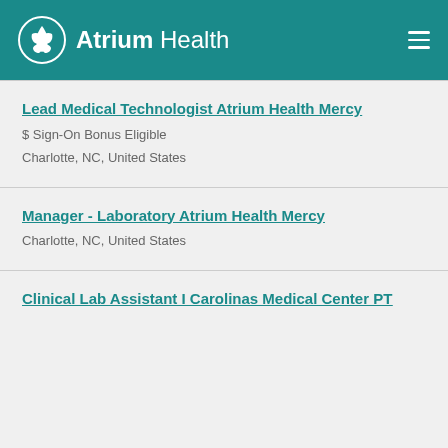Atrium Health
Lead Medical Technologist Atrium Health Mercy
$ Sign-On Bonus Eligible
Charlotte, NC, United States
Manager - Laboratory Atrium Health Mercy
Charlotte, NC, United States
Clinical Lab Assistant I Carolinas Medical Center PT